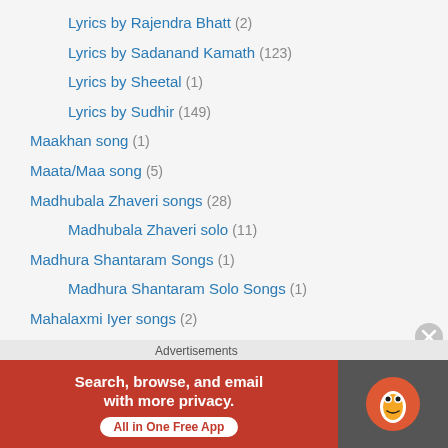Lyrics by Rajendra Bhatt (2)
Lyrics by Sadanand Kamath (123)
Lyrics by Sheetal (1)
Lyrics by Sudhir (149)
Maakhan song (1)
Maata/Maa song (5)
Madhubala Zhaveri songs (28)
Madhubala Zhaveri solo (11)
Madhura Shantaram Songs (1)
Madhura Shantaram Solo Songs (1)
Mahalaxmi Iyer songs (2)
Mahalxmi Iyer solo songs (1)
Mahendra Kapoor songs (398)
Mahendra Kapoor solo (138)
Mamma – Bhaanji/Bhaanja Song (1)
Manhar Udhas songs (14)
Advertisements
[Figure (infographic): DuckDuckGo advertisement banner: Search, browse, and email with more privacy. All in One Free App]